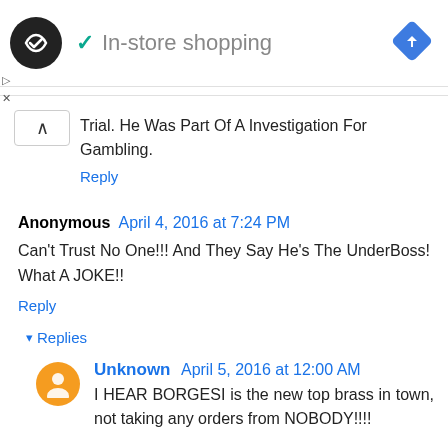[Figure (logo): Ad banner with circular logo, checkmark and In-store shopping text, blue diamond navigation icon]
Trial. He Was Part Of A Investigation For Gambling.
Reply
Anonymous April 4, 2016 at 7:24 PM
Can't Trust No One!!! And They Say He's The UnderBoss! What A JOKE!!
Reply
Replies
Unknown April 5, 2016 at 12:00 AM
I HEAR BORGESI is the new top brass in town, not taking any orders from NOBODY!!!!